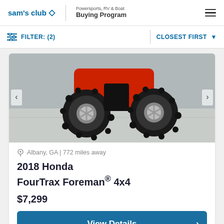sam's club ◇ | Powersports, RV & Boat Buying Program
FILTER: (2)   CLOSEST FIRST
[Figure (photo): Close-up photo of a red Honda FourTrax Foreman ATV showing large off-road tires with chrome rims on a concrete garage floor]
Albany, GA | 772 miles away
2018 Honda FourTrax Foreman® 4x4
$7,299
View Details